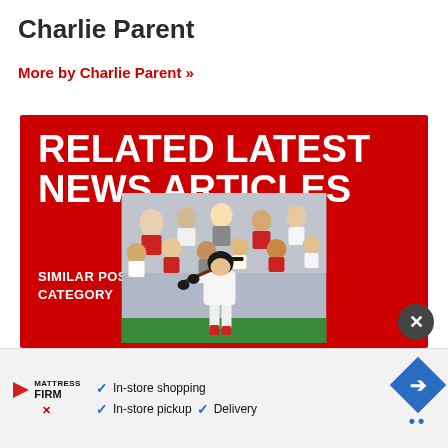Charlie Parent
More by Charlie Parent »
RELATED LATEST NEWS ARTICLES
SIMILAR POSTS FROM LATEST NEWS CATEGORY
[Figure (photo): Baseball player in white Red Sox uniform swinging a bat, crowd in background at stadium]
In-store shopping  In-store pickup  Delivery